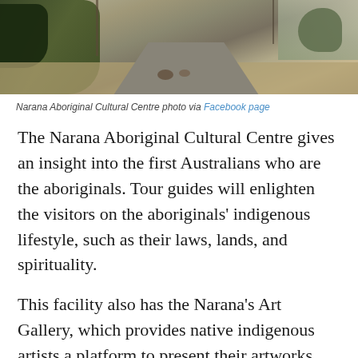[Figure (photo): Outdoor scene at Narana Aboriginal Cultural Centre showing a road/driveway, native bushland, rocks and trees on either side, with dry grass and scrub in the background.]
Narana Aboriginal Cultural Centre photo via Facebook page
The Narana Aboriginal Cultural Centre gives an insight into the first Australians who are the aboriginals. Tour guides will enlighten the visitors on the aboriginals’ indigenous lifestyle, such as their laws, lands, and spirituality.
This facility also has the Narana’s Art Gallery, which provides native indigenous artists a platform to present their artworks.